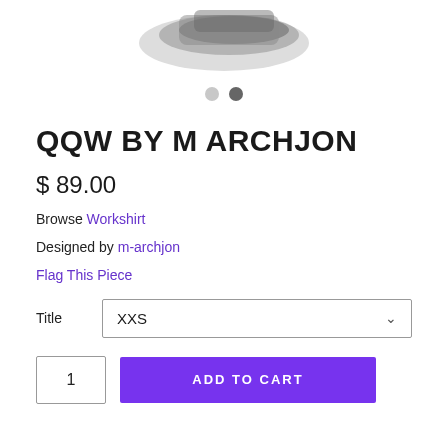[Figure (photo): Partial view of a product (appears to be a shoe or accessory) in grayscale at top of page]
QQW BY M ARCHJON
$ 89.00
Browse Workshirt
Designed by m-archjon
Flag This Piece
Title  XXS
1   ADD TO CART